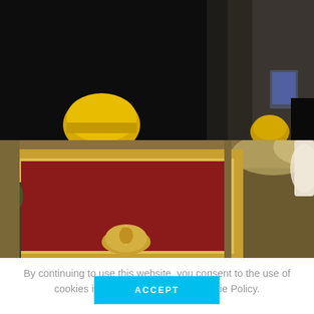[Figure (photo): Dark interior scene with a person wearing a yellow hard hat on the left, and another figure in the background near a lit screen. Stone or concrete architectural elements visible.]
[Figure (photo): Close-up of an ornate gilded picture frame with red fabric/velvet background and a gold decorative emblem at the bottom. Elaborate carved plaster molding visible at top right.]
By continuing to use this website, you consent to the use of cookies in accordance with our Cookie Policy.
ACCEPT